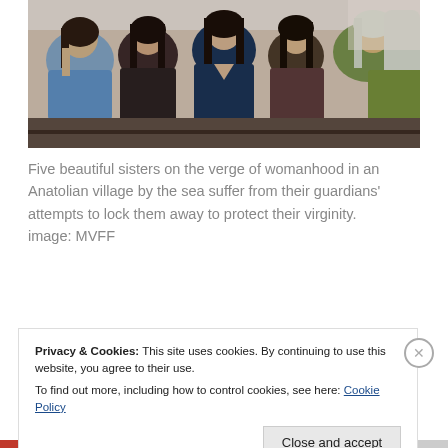[Figure (photo): Five young women with dark hair sitting closely together, appearing to be inside a vehicle. They have various expressions and are wearing casual clothing in blue, dark, and green tones.]
Five beautiful sisters on the verge of womanhood in an Anatolian village by the sea suffer from their guardians' attempts to lock them away to protect their virginity. image: MVFF
Privacy & Cookies: This site uses cookies. By continuing to use this website, you agree to their use.
To find out more, including how to control cookies, see here: Cookie Policy